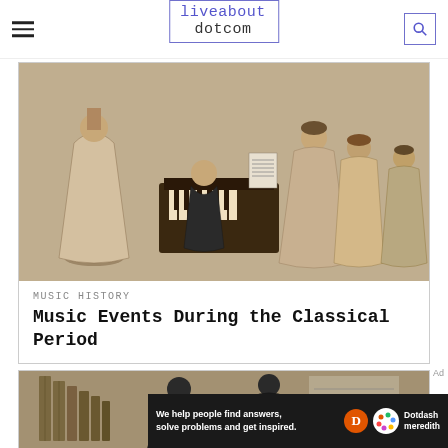liveabout dotcom
[Figure (photo): Vintage sepia illustration of a man at a piano with several women in period dresses gathered around him in a parlor setting]
MUSIC HISTORY
Music Events During the Classical Period
[Figure (photo): Vintage sepia illustration of two figures in dark Victorian clothing standing near an organ or pipe instrument with sheet music visible in the background]
Ad
We help people find answers, solve problems and get inspired.